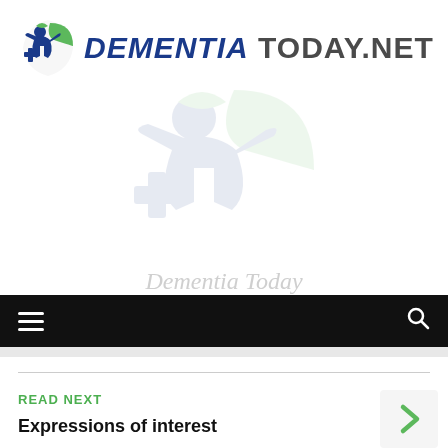[Figure (logo): Dementia Today logo with stylized figure and leaf icon, text reading DEMENTIA TODAY.NET]
[Figure (photo): Faded watermark/background image of the Dementia Today logo icon]
Dementia Today
Navigation bar with hamburger menu and search icon
READ NEXT
Expressions of interest